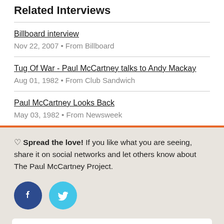Related Interviews
Billboard interview
Nov 22, 2007 • From Billboard
Tug Of War - Paul McCartney talks to Andy Mackay
Aug 01, 1982 • From Club Sandwich
Paul McCartney Looks Back
May 03, 1982 • From Newsweek
♡ Spread the love! If you like what you are seeing, share it on social networks and let others know about The Paul McCartney Project.
[Figure (other): Facebook and Twitter social share buttons (circular icons)]
Song facts